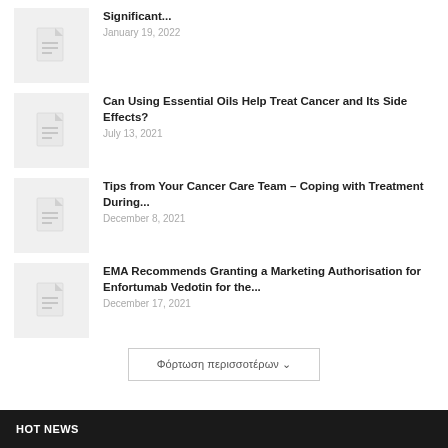Significant... January 19, 2022
Can Using Essential Oils Help Treat Cancer and Its Side Effects? July 13, 2021
Tips from Your Cancer Care Team – Coping with Treatment During... December 8, 2021
EMA Recommends Granting a Marketing Authorisation for Enfortumab Vedotin for the... December 17, 2021
Φόρτωση περισσοτέρων
HOT NEWS